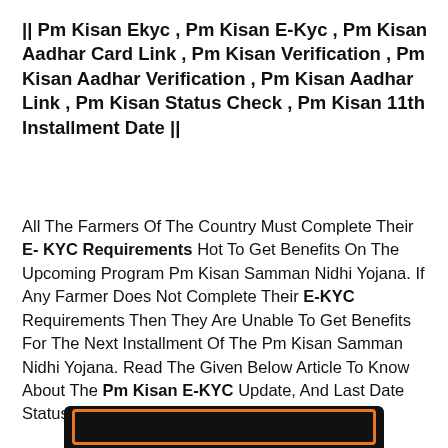|| Pm Kisan Ekyc , Pm Kisan E-Kyc , Pm Kisan Aadhar Card Link , Pm Kisan Verification , Pm Kisan Aadhar Verification , Pm Kisan Aadhar Link , Pm Kisan Status Check , Pm Kisan 11th Installment Date ||
All The Farmers Of The Country Must Complete Their E- KYC Requirements Hot To Get Benefits On The Upcoming Program Pm Kisan Samman Nidhi Yojana. If Any Farmer Does Not Complete Their E-KYC Requirements Then They Are Unable To Get Benefits For The Next Installment Of The Pm Kisan Samman Nidhi Yojana. Read The Given Below Article To Know About The Pm Kisan E-KYC Update, And Last Date Status.
[Figure (other): Black banner strip with orange border at bottom of page]